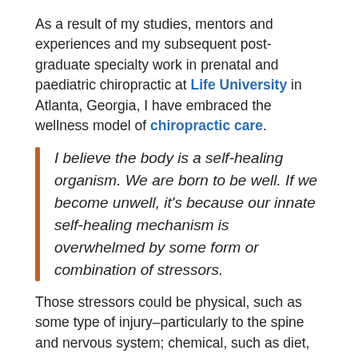As a result of my studies, mentors and experiences and my subsequent post-graduate specialty work in prenatal and paediatric chiropractic at Life University in Atlanta, Georgia, I have embraced the wellness model of chiropractic care.
I believe the body is a self-healing organism. We are born to be well. If we become unwell, it's because our innate self-healing mechanism is overwhelmed by some form or combination of stressors.
Those stressors could be physical, such as some type of injury–particularly to the spine and nervous system; chemical, such as diet,